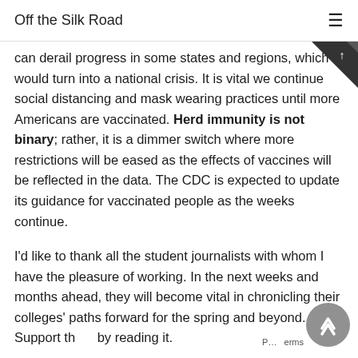Off the Silk Road
can derail progress in some states and regions, which would turn into a national crisis. It is vital we continue social distancing and mask wearing practices until more Americans are vaccinated. Herd immunity is not binary; rather, it is a dimmer switch where more restrictions will be eased as the effects of vaccines will be reflected in the data. The CDC is expected to update its guidance for vaccinated people as the weeks continue.
I'd like to thank all the student journalists with whom I have the pleasure of working. In the next weeks and months ahead, they will become vital in chronicling their colleges' paths forward for the spring and beyond. Support th... by reading it.
My best to all for good health.